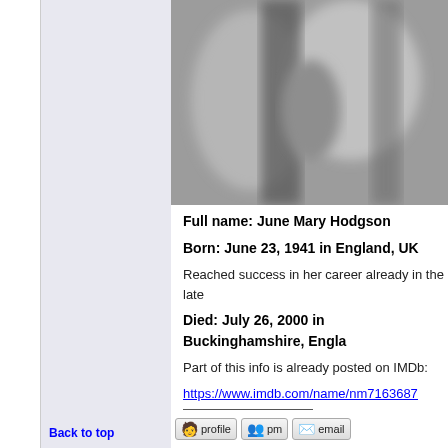[Figure (photo): Blurry black and white photograph, appears to be a close-up portrait]
Full name: June Mary Hodgson
Born: June 23, 1941 in England, UK
Reached success in her career already in the late
Died: July 26, 2000 in Buckinghamshire, Engla
Part of this info is already posted on IMDb:
https://www.imdb.com/name/nm7163687
Denis
Back to top